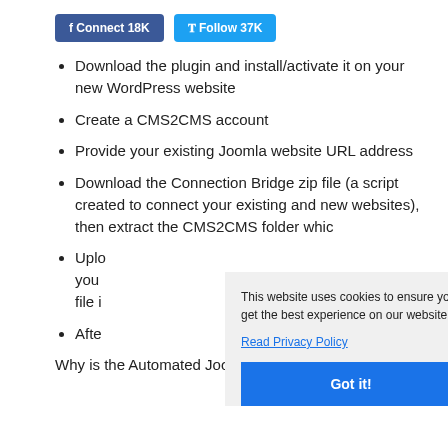f Connect 18K   Follow 37K
Download the plugin and install/activate it on your new WordPress website
Create a CMS2CMS account
Provide your existing Joomla website URL address
Download the Connection Bridge zip file (a script created to connect your existing and new websites), then extract the CMS2CMS folder whic
Uplo your file i
Afte
Why is the Automated Joomla to WordPress data
This website uses cookies to ensure you get the best experience on our website. Read Privacy Policy
Got it!